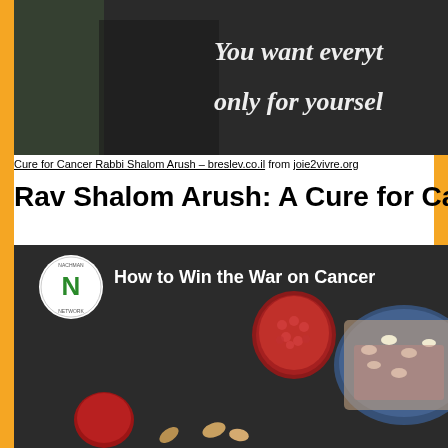[Figure (photo): Dark background image with person, text overlay reads 'You want everyt... only for yourself']
Cure for Cancer Rabbi Shalom Arush – breslev.co.il from joie2vivre.org
Rav Shalom Arush: A Cure for Ca...
[Figure (screenshot): Video thumbnail showing 'How to Win the War on Cancer' with Nachman logo and dark food/berries imagery]